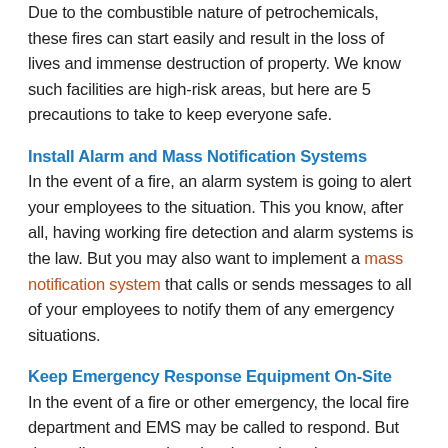Due to the combustible nature of petrochemicals, these fires can start easily and result in the loss of lives and immense destruction of property. We know such facilities are high-risk areas, but here are 5 precautions to take to keep everyone safe.
Install Alarm and Mass Notification Systems
In the event of a fire, an alarm system is going to alert your employees to the situation. This you know, after all, having working fire detection and alarm systems is the law. But you may also want to implement a mass notification system that calls or sends messages to all of your employees to notify them of any emergency situations.
Keep Emergency Response Equipment On-Site
In the event of a fire or other emergency, the local fire department and EMS may be called to respond. But depending on your location, it may be a long